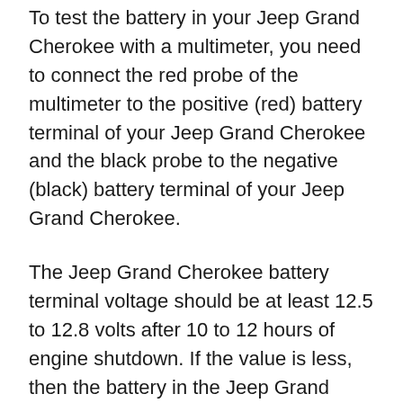To test the battery in your Jeep Grand Cherokee with a multimeter, you need to connect the red probe of the multimeter to the positive (red) battery terminal of your Jeep Grand Cherokee and the black probe to the negative (black) battery terminal of your Jeep Grand Cherokee.
The Jeep Grand Cherokee battery terminal voltage should be at least 12.5 to 12.8 volts after 10 to 12 hours of engine shutdown. If the value is less, then the battery in the Jeep Grand Cherokee will have to be replaced.
Jeep Grand Cherokee battery terminal voltage with the engine running should show 14.0 – 14.5 volts, a deviation in any direction is undesirable. This